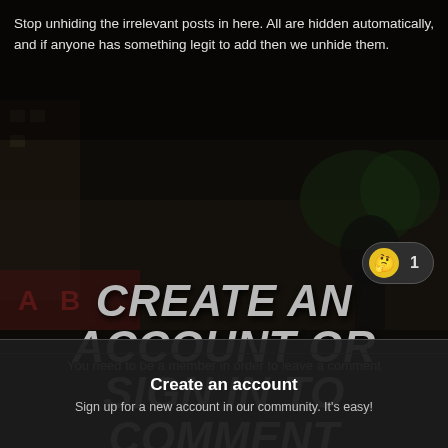Stop unhiding the irrelevant posts in here. All are hidden automatically, and if anyone has something legit to add then we unhide them.
[Figure (screenshot): Dark-themed game screenshot showing street scene with characters, partially obscured by overlay]
1
CREATE AN ACCOUNT OR SIGN IN TO COMMENT
You need to be a member in order to leave a comment
Create an account
Sign up for a new account in our community. It's easy!